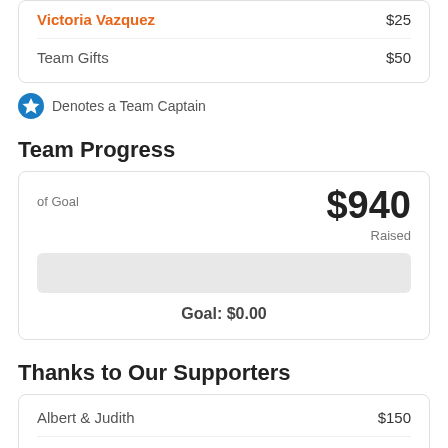| Name | Amount |
| --- | --- |
| Victoria Vazquez | $25 |
| Team Gifts | $50 |
⭐ Denotes a Team Captain
Team Progress
| of Goal | $940 Raised |
| --- | --- |
| Goal: $0.00 |  |
Thanks to Our Supporters
| Name | Amount |
| --- | --- |
| Albert & Judith | $150 |
| Anonymous | $100 |